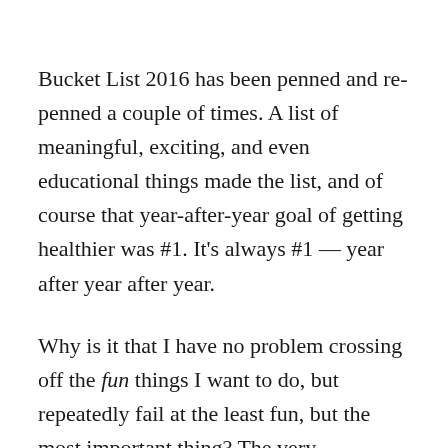Bucket List 2016 has been penned and re-penned a couple of times.  A list of meaningful, exciting, and even educational things made the list, and of course that year-after-year goal of getting healthier was #1.  It's always #1 — year after year after year.
Why is it that I have no problem crossing off the fun things I want to do, but repeatedly fail at the least fun, but the most important thing?   The very